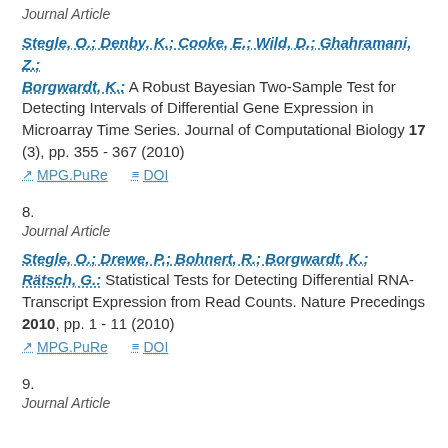Journal Article
Stegle, O.; Denby, K.; Cooke, E.; Wild, D.; Ghahramani, Z.; Borgwardt, K.: A Robust Bayesian Two-Sample Test for Detecting Intervals of Differential Gene Expression in Microarray Time Series. Journal of Computational Biology 17 (3), pp. 355 - 367 (2010)
MPG.PuRe   DOI
8.
Journal Article
Stegle, O.; Drewe, P.; Bohnert, R.; Borgwardt, K.; Rätsch, G.: Statistical Tests for Detecting Differential RNA-Transcript Expression from Read Counts. Nature Precedings 2010, pp. 1 - 11 (2010)
MPG.PuRe   DOI
9.
Journal Article